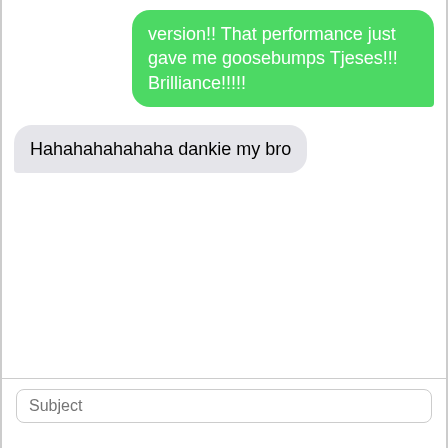version!! That performance just gave me goosebumps Tjeses!!! Brilliance!!!!!
Hahahahahahaha dankie my bro